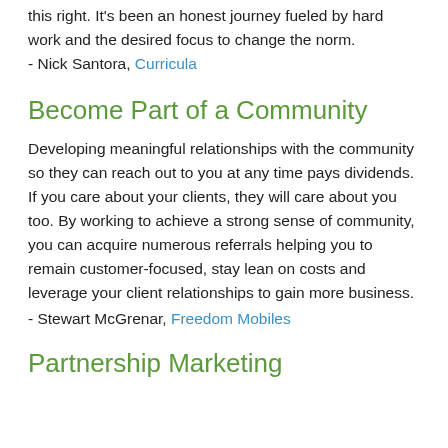this right. It's been an honest journey fueled by hard work and the desired focus to change the norm.
- Nick Santora, Curricula
Become Part of a Community
Developing meaningful relationships with the community so they can reach out to you at any time pays dividends. If you care about your clients, they will care about you too. By working to achieve a strong sense of community, you can acquire numerous referrals helping you to remain customer-focused, stay lean on costs and leverage your client relationships to gain more business.
- Stewart McGrenar, Freedom Mobiles
Partnership Marketing